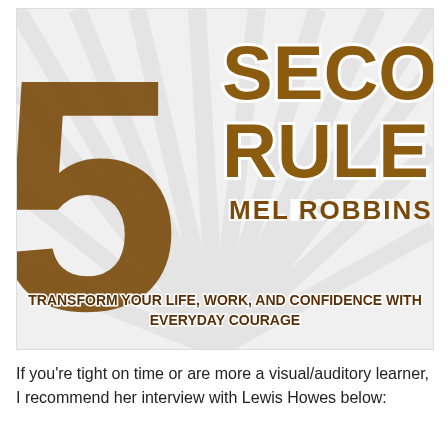[Figure (illustration): Book cover of 'The 5 Second Rule' by Mel Robbins. Shows a large golden/bronze numeral '5' on a white radial-rays background, with the text 'SECOND RULE' in gold bold letters at top right, author name 'MEL ROBBINS' below that, and subtitle 'TRANSFORM YOUR LIFE, WORK, AND CONFIDENCE WITH EVERYDAY COURAGE' at the bottom.]
If you're tight on time or are more a visual/auditory learner, I recommend her interview with Lewis Howes below: